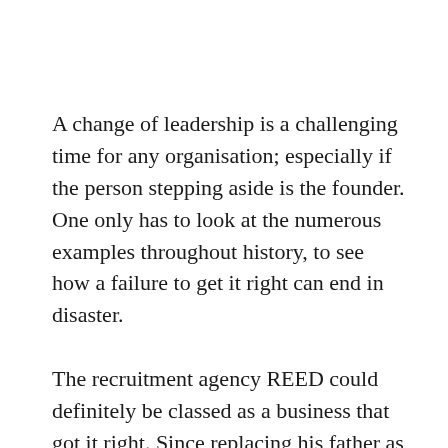A change of leadership is a challenging time for any organisation; especially if the person stepping aside is the founder. One only has to look at the numerous examples throughout history, to see how a failure to get it right can end in disaster.
The recruitment agency REED could definitely be classed as a business that got it right. Since replacing his father as chief executive in 1997 (and then as chairman in 2004), James Reed has grown the business into the largest family-